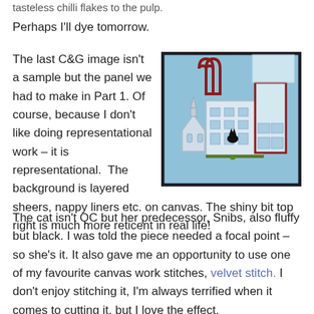tasteless chilli flakes to the pulp.
Perhaps I'll dye tomorrow.
The last C&G image isn't a sample but the panel we had to make in Part 1. Of course, because I don't like doing representational work – it is representational.  The background is layered sheers, nappy liners etc. on canvas. The shiny bit top right is much more reticent in real life!
[Figure (photo): A textile/embroidery panel showing buildings in a town scene with a blue layered sheer background, white outlined building outlines, red brick-style arches, and a small black cat figure.]
The cat isn't QC but her predecessor, Snibs, also fluffy but black. I was told the piece needed a focal point – so she's it. It also gave me an opportunity to use one of my favourite canvas work stitches, velvet stitch. I don't enjoy stitching it, I'm always terrified when it comes to cutting it, but I love the effect.